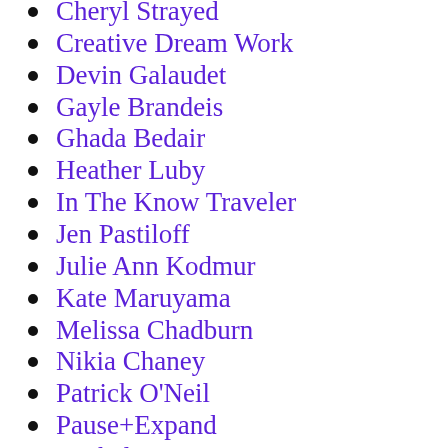Cheryl Strayed
Creative Dream Work
Devin Galaudet
Gayle Brandeis
Ghada Bedair
Heather Luby
In The Know Traveler
Jen Pastiloff
Julie Ann Kodmur
Kate Maruyama
Melissa Chadburn
Nikia Chaney
Patrick O'Neil
Pause+Expand
Rachel Kann
Seth Fischer
Tamara Silvera